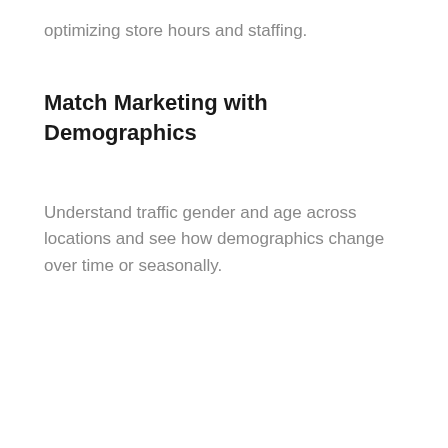optimizing store hours and staffing.
Match Marketing with Demographics
Understand traffic gender and age across locations and see how demographics change over time or seasonally.
[Figure (other): White card/panel box, partially visible at bottom of page, with a gray scroll-to-top button (chevron up arrow) on the right edge.]